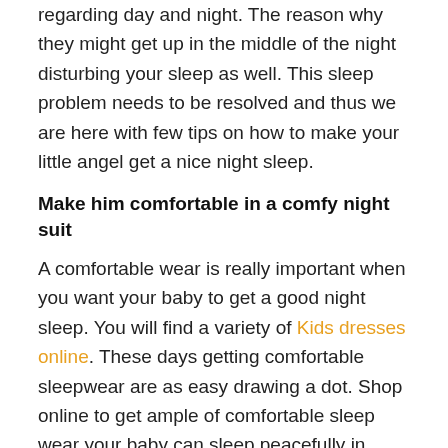regarding day and night. The reason why they might get up in the middle of the night disturbing your sleep as well. This sleep problem needs to be resolved and thus we are here with few tips on how to make your little angel get a nice night sleep.
Make him comfortable in a comfy night suit
A comfortable wear is really important when you want your baby to get a good night sleep. You will find a variety of Kids dresses online. These days getting comfortable sleepwear are as easy drawing a dot. Shop online to get ample of comfortable sleep wear your baby can sleep peacefully in.
Set a bedtime routine
Next big thing after getting a comfortable sleepwear is to set a bedtime routine for your baby. This...